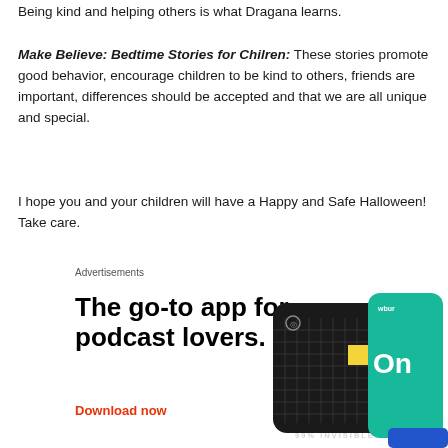Being kind and helping others is what Dragana learns.
Make Believe: Bedtime Stories for Chilren: These stories promote good behavior, encourage children to be kind to others, friends are important, differences should be accepted and that we are all unique and special.
I hope you and your children will have a Happy and Safe Halloween! Take care.
Advertisements
[Figure (screenshot): Advertisement for a podcast app showing bold text 'The go-to app for podcast lovers.' with a red 'Download now' link and phone screen mockups showing 99% Invisible podcast app cards.]